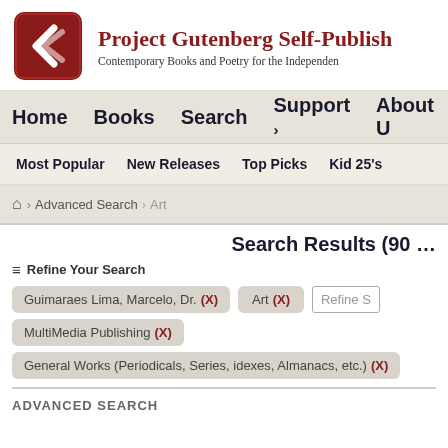Project Gutenberg Self-Publish — Contemporary Books and Poetry for the Independent
Home   Books   Search   Support ›   About U
Most Popular   New Releases   Top Picks   Kid 25's
Home > Advanced Search > Art
Search Results (90 …)
☰ Refine Your Search
Guimaraes Lima, Marcelo, Dr. (X)
Art (X)
MultiMedia Publishing (X)
General Works (Periodicals, Series, idexes, Almanacs, etc.) (X)
ADVANCED SEARCH